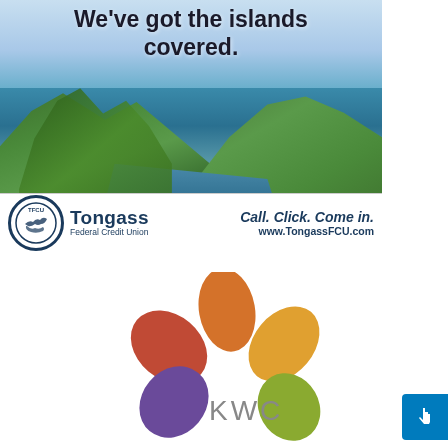[Figure (advertisement): Tongass Federal Credit Union advertisement featuring aerial photo of forested islands with water channels and the tagline 'We've got the islands covered.' with TFCU logo, 'Call. Click. Come in.' and www.TongassFCU.com]
[Figure (logo): KWC logo consisting of colorful petal/leaf shapes in orange, red/terracotta, gold/yellow, purple, green, and olive colors arranged in a flower pattern with 'KWC' text in gray]